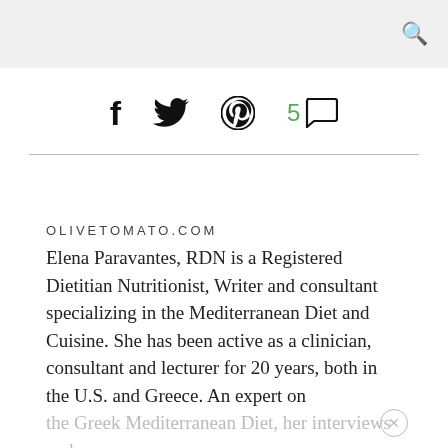🔍
[Figure (other): Social sharing icons: Facebook (f), Twitter (bird), Pinterest (P circle), and comment count 5 with speech bubble icon]
OLIVETOMATO.COM
Elena Paravantes, RDN is a Registered Dietitian Nutritionist, Writer and consultant specializing in the Mediterranean Diet and Cuisine. She has been active as a clinician, consultant and lecturer for 20 years, both in the U.S. and Greece. An expert on the Greek Mediterranean Diet, her interviews and articles have been published in many publications